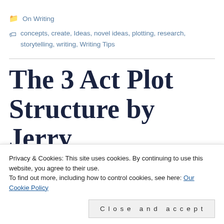📁 On Writing
🏷 concepts, create, Ideas, novel ideas, plotting, research, storytelling, writing, Writing Tips
The 3 Act Plot Structure by Jerry D...
Privacy & Cookies: This site uses cookies. By continuing to use this website, you agree to their use.
To find out more, including how to control cookies, see here: Our Cookie Policy
Close and accept
way. The events are connected by cause and effect and have a